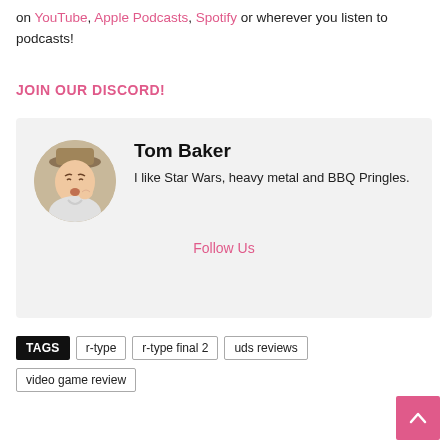on YouTube, Apple Podcasts, Spotify or wherever you listen to podcasts!
JOIN OUR DISCORD!
[Figure (other): Author card with circular photo of Tom Baker, name, bio, and Follow Us link]
TAGS  r-type  r-type final 2  uds reviews  video game review